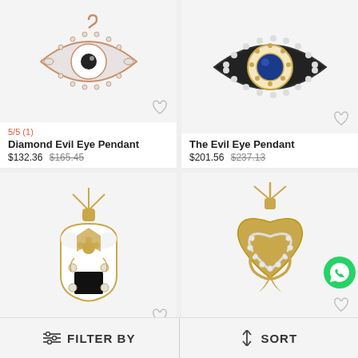[Figure (photo): Diamond Evil Eye Pendant - rose gold and silver pendant with diamond accents on light gray background]
5/5 (1)
Diamond Evil Eye Pendant
$132.36  $165.45
[Figure (photo): The Evil Eye Pendant - black and gold evil eye pendant with blue sapphire center and diamond accents]
The Evil Eye Pendant
$201.56  $237.13
[Figure (photo): Gold and white ornate pendant with black enamel detail on chain]
[Figure (photo): Gold heart pendant with diamond accents and ribbon design on chain, with WhatsApp icon overlay]
1/5 (1)
FILTER BY
SORT